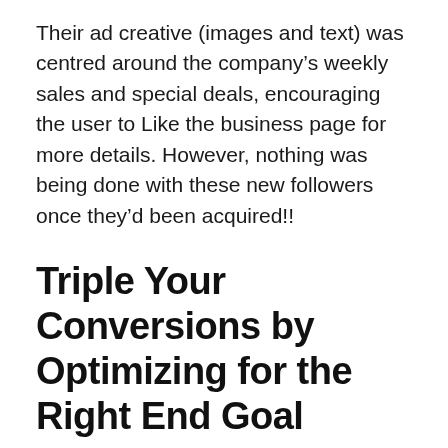Their ad creative (images and text) was centred around the company's weekly sales and special deals, encouraging the user to Like the business page for more details. However, nothing was being done with these new followers once they'd been acquired!!
Triple Your Conversions by Optimizing for the Right End Goal
I decided to restructure the campaign by changing up the end goal (desired result) and the ad targeting.